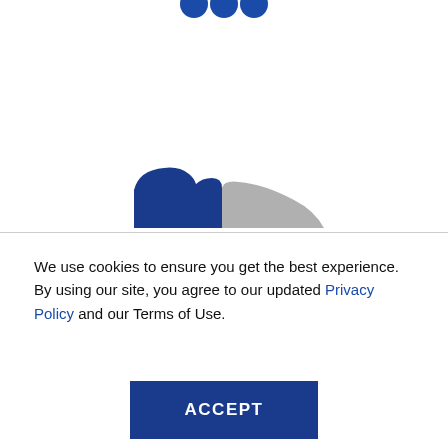[Figure (illustration): Partial view of blue social media icon circles at top center, and a blue horse silhouette partially visible at bottom of top section above a horizontal divider line.]
We use cookies to ensure you get the best experience. By using our site, you agree to our updated Privacy Policy and our Terms of Use.
ACCEPT